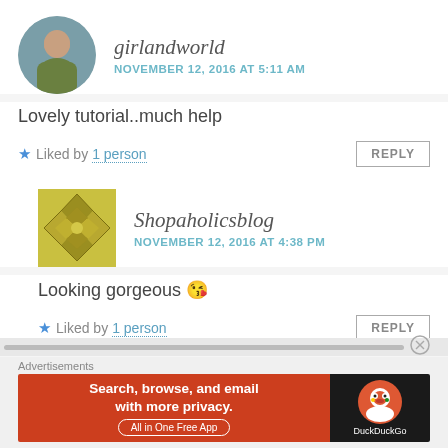girlandworld
NOVEMBER 12, 2016 AT 5:11 AM
Lovely tutorial..much help
★ Liked by 1 person
REPLY
Shopaholicsblog
NOVEMBER 12, 2016 AT 4:38 PM
Looking gorgeous 😘
★ Liked by 1 person
REPLY
Advertisements
Search, browse, and email with more privacy. All in One Free App